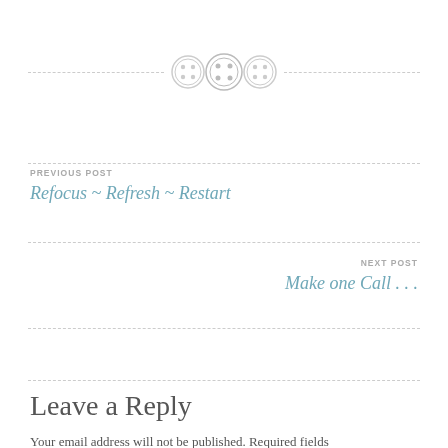[Figure (illustration): Three decorative button icons centered on a dashed horizontal divider line]
PREVIOUS POST
Refocus ~ Refresh ~ Restart
NEXT POST
Make one Call . . .
Leave a Reply
Your email address will not be published. Required fields